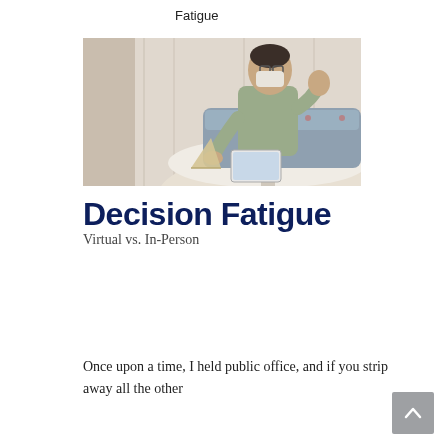Fatigue
[Figure (photo): A man wearing a face mask and glasses sits at a round table on a gray tufted sofa, holding a tablet and gesturing with one hand, in a light-colored room.]
Decision Fatigue
Virtual vs. In-Person
Once upon a time, I held public office, and if you strip away all the other